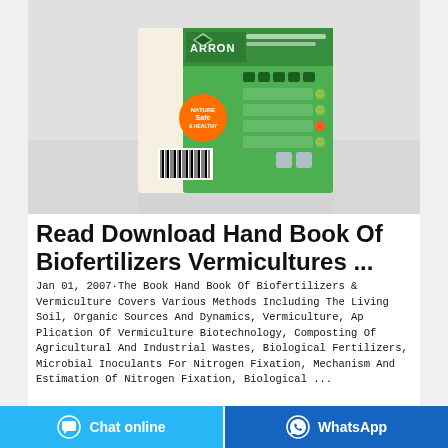[Figure (photo): Product photo of a green box/package with ARRON branding, showing the back label with Thai text, ingredient icons, and a barcode on a light gray background.]
Read Download Hand Book Of Biofertilizers Vermicultures ...
Jan 01, 2007·The Book Hand Book Of Biofertilizers & Vermiculture Covers Various Methods Including The Living Soil, Organic Sources And Dynamics, Vermiculture, Ap Plication Of Vermiculture Biotechnology, Composting Of Agricultural And Industrial Wastes, Biological Fertilizers, Microbial Inoculants For Nitrogen Fixation, Mechanism And Estimation Of Nitrogen Fixation, Biological ...